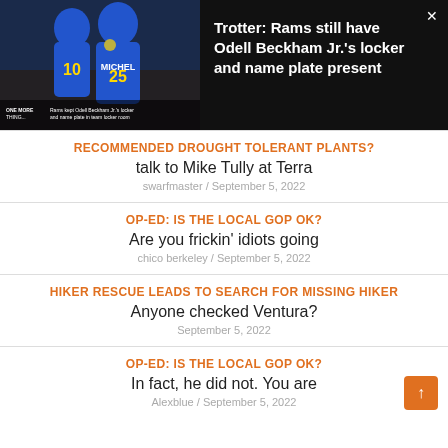[Figure (screenshot): Video banner showing Rams players in blue and gold jerseys with Michel 25, dark background with text about OBJ locker]
Trotter: Rams still have Odell Beckham Jr.'s locker and name plate present
RECOMMENDED DROUGHT TOLERANT PLANTS?
talk to Mike Tully at Terra
swarfmaster / September 5, 2022
OP-ED: IS THE LOCAL GOP OK?
Are you frickin' idiots going
chico berkeley / September 5, 2022
HIKER RESCUE LEADS TO SEARCH FOR MISSING HIKER
Anyone checked Ventura?
September 5, 2022
OP-ED: IS THE LOCAL GOP OK?
In fact, he did not. You are
Alexblue / September 5, 2022